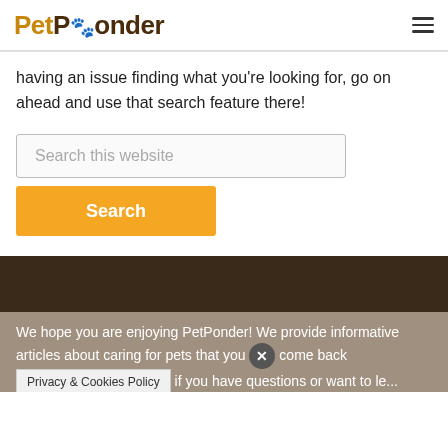PetPonder
having an issue finding what you're looking for, go on ahead and use that search feature there!
[Figure (screenshot): Search input box with placeholder text 'Search this website']
Search
We hope you are enjoying PetPonder! We provide informative articles about caring for pets that you come back if you have questions or want to le...
Privacy & Cookies Policy